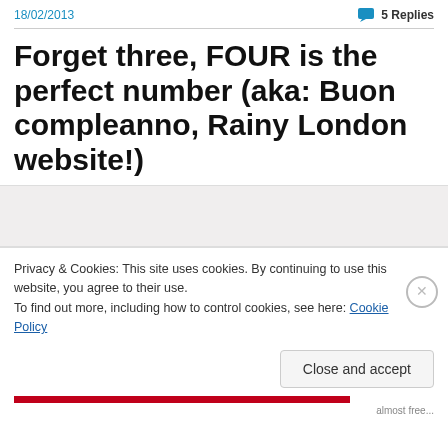18/02/2013
5 Replies
Forget three, FOUR is the perfect number (aka: Buon compleanno, Rainy London website!)
[Figure (screenshot): Gray placeholder image area]
Privacy & Cookies: This site uses cookies. By continuing to use this website, you agree to their use.
To find out more, including how to control cookies, see here: Cookie Policy
Close and accept